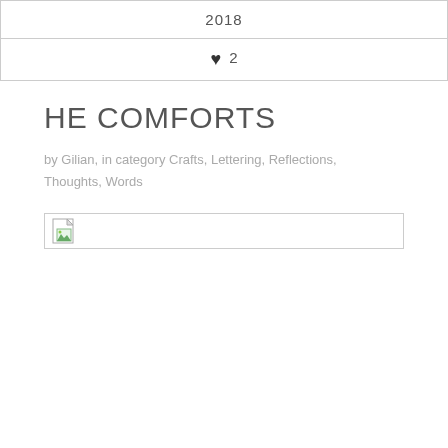| 2018 |
| ♥ 2 |
HE COMFORTS
by Gilian, in category Crafts, Lettering, Reflections, Thoughts, Words
[Figure (photo): Broken/missing image placeholder with small image icon]